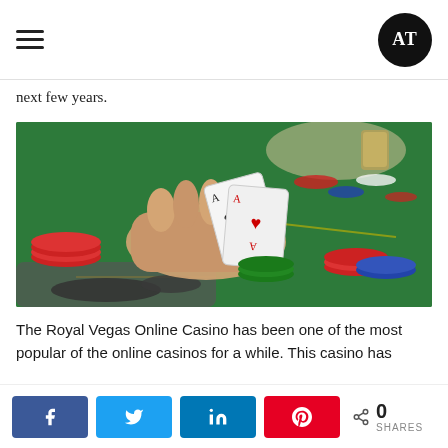AT logo and hamburger menu
next few years.
[Figure (photo): Close-up of a person's hands holding two playing cards (aces) over a green casino table covered with colorful poker chips (red, white, blue, green), with a glass of whiskey in the background.]
The Royal Vegas Online Casino has been one of the most popular of the online casinos for a while. This casino has
Social share buttons: Facebook, Twitter, LinkedIn, Pinterest. 0 SHARES